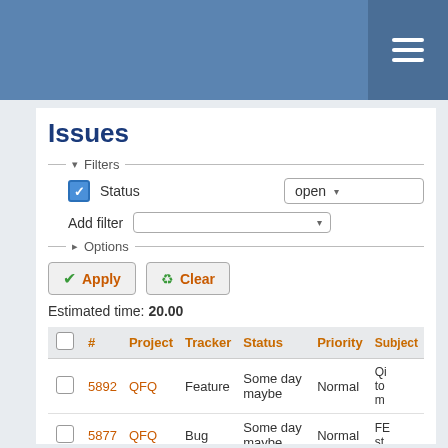Navigation header with hamburger menu
Issues
Filters
Status  open
Add filter
Options
Apply  Clear
Estimated time: 20.00
|  | # | Project | Tracker | Status | Priority | Subject |
| --- | --- | --- | --- | --- | --- | --- |
|  | 5892 | QFQ | Feature | Some day maybe | Normal | Qi to m... |
|  | 5877 | QFQ | Bug | Some day maybe | Normal | FE sti... |